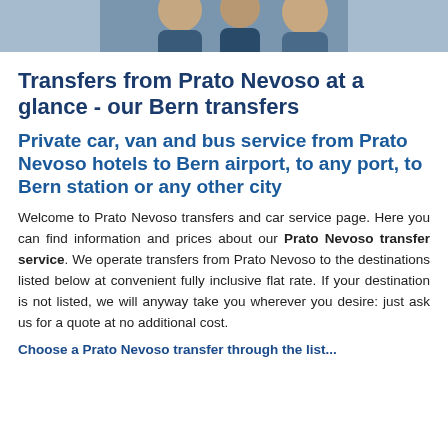[Figure (photo): Partial photo of people, cropped at top of page, showing heads/shoulders]
Transfers from Prato Nevoso at a glance - our Bern transfers
Private car, van and bus service from Prato Nevoso hotels to Bern airport, to any port, to Bern station or any other city
Welcome to Prato Nevoso transfers and car service page. Here you can find information and prices about our Prato Nevoso transfer service. We operate transfers from Prato Nevoso to the destinations listed below at convenient fully inclusive flat rate. If your destination is not listed, we will anyway take you wherever you desire: just ask us for a quote at no additional cost.
Choose a Prato Nevoso transfer through the list...